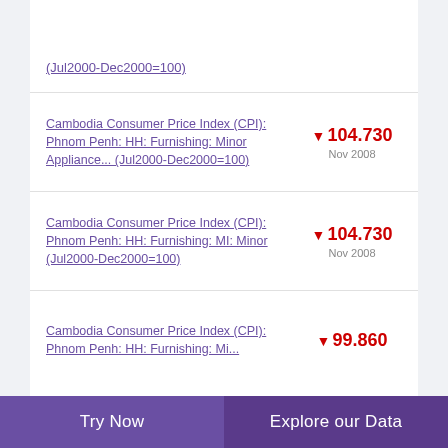(Jul2000-Dec2000=100)
Cambodia Consumer Price Index (CPI): Phnom Penh: HH: Furnishing: Minor Appliance... (Jul2000-Dec2000=100)
Cambodia Consumer Price Index (CPI): Phnom Penh: HH: Furnishing: MI: Minor (Jul2000-Dec2000=100)
Cambodia Consumer Price Index (CPI): Phnom Penh: HH: Furnishing: Mi...
Try Now   Explore our Data